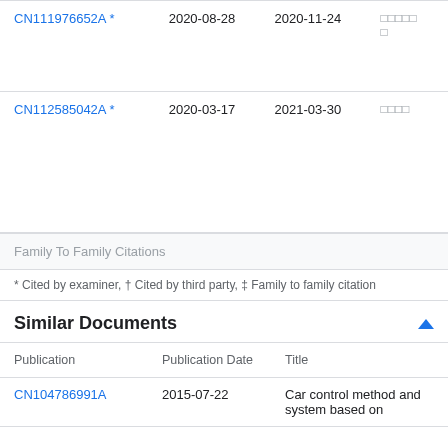| Publication | Filing Date | Publication Date | Assignee |
| --- | --- | --- | --- |
| CN111976652A * | 2020-08-28 | 2020-11-24 | □□□□□ |
| CN112585042A * | 2020-03-17 | 2021-03-30 | □□□□ |
Family To Family Citations
* Cited by examiner, † Cited by third party, ‡ Family to family citation
Similar Documents
| Publication | Publication Date | Title |
| --- | --- | --- |
| CN104786991A | 2015-07-22 | Car control method and system based on |